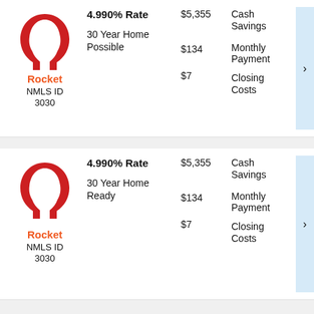[Figure (logo): Rocket Mortgage horseshoe logo (red)]
Rocket
NMLS ID 3030
4.990% Rate
30 Year Home Possible
$5,355
$134
$7
Cash Savings
Monthly Payment
Closing Costs
[Figure (logo): Rocket Mortgage horseshoe logo (red)]
Rocket
NMLS ID 3030
4.990% Rate
30 Year Home Ready
$5,355
$134
$7
Cash Savings
Monthly Payment
Closing Costs